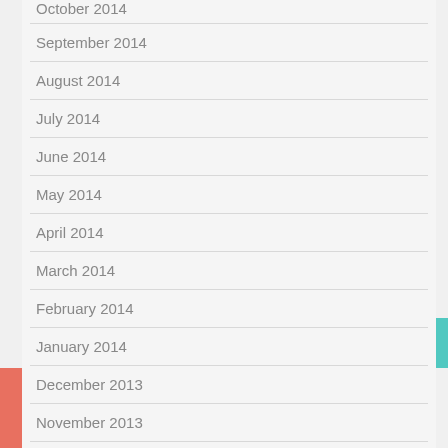October 2014
September 2014
August 2014
July 2014
June 2014
May 2014
April 2014
March 2014
February 2014
January 2014
December 2013
November 2013
October 2013
Grab My Button